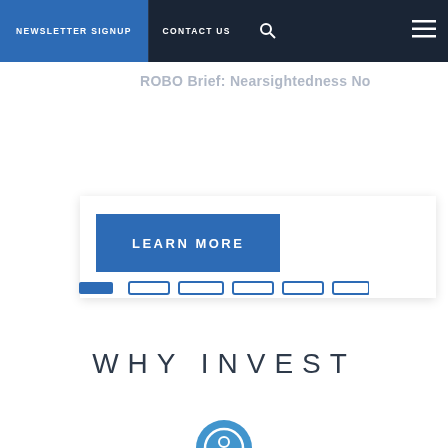NEWSLETTER SIGNUP   CONTACT US
[Figure (logo): ROBO GLOBAL logo with stylized robot head icon in white on dark background]
ROBO Brief: Nearsightedness No
LEARN MORE
[Figure (infographic): Pagination dots: one filled blue rectangle followed by five outlined rectangles]
WHY INVEST
[Figure (illustration): Partial circular icon/logo at bottom center, blue color]